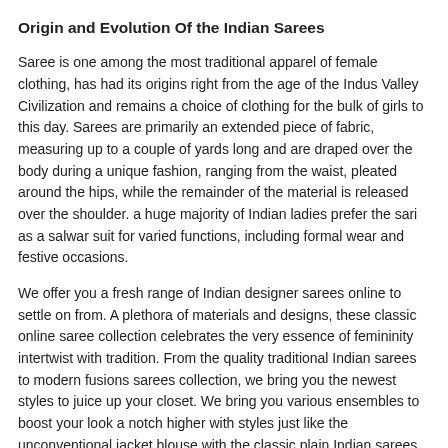Origin and Evolution Of the Indian Sarees
Saree is one among the most traditional apparel of female clothing, has had its origins right from the age of the Indus Valley Civilization and remains a choice of clothing for the bulk of girls to this day. Sarees are primarily an extended piece of fabric, measuring up to a couple of yards long and are draped over the body during a unique fashion, ranging from the waist, pleated around the hips, while the remainder of the material is released over the shoulder. a huge majority of Indian ladies prefer the sari as a salwar suit for varied functions, including formal wear and festive occasions.
We offer you a fresh range of Indian designer sarees online to settle on from. A plethora of materials and designs, these classic online saree collection celebrates the very essence of femininity intertwist with tradition. From the quality traditional Indian sarees to modern fusions sarees collection, we bring you the newest styles to juice up your closet. We bring you various ensembles to boost your look a notch higher with styles just like the unconventional jacket blouse with the classic plain Indian sarees online. Also, an assortment of trending contemporary Indian sari collection just like the half and half Indian fancy sarees online, plain Indian sarees, Banarasi silk sari online shopping and therefore the lehenga style sarees online to reinforce the chic quotient.